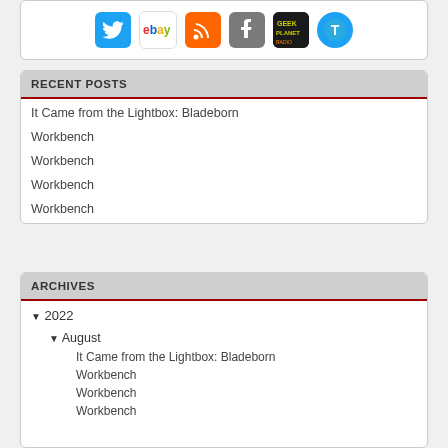[Figure (other): Row of social media icon buttons: Twitter (blue bird), eBay, RSS (orange), Tumblr (gray), GeekPlanet (dark), and a blue T-circle icon]
RECENT POSTS
It Came from the Lightbox: Bladeborn
Workbench
Workbench
Workbench
Workbench
ARCHIVES
▼ 2022
▼ August
It Came from the Lightbox: Bladeborn
Workbench
Workbench
Workbench